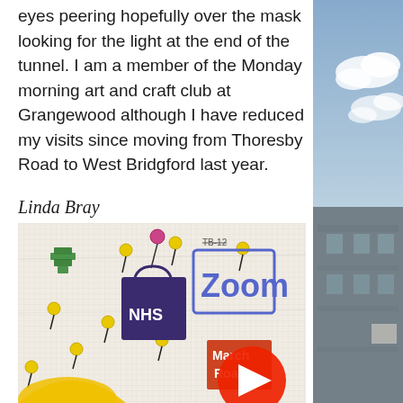eyes peering hopefully over the mask looking for the light at the end of the tunnel. I am a member of the Monday morning art and craft club at Grangewood although I have reduced my visits since moving from Thoresby Road to West Bridgford last year.
Linda Bray
[Figure (photo): A close-up photo of a textile/embroidery/needlepoint artwork on mesh canvas showing colourful stitched icons including an NHS bag, Zoom label with 'TB-12' reference, map pins/drawing pins in yellow, a green shape, and a 'March Road' sign in orange/red, with a YouTube play button overlay in the bottom right corner.]